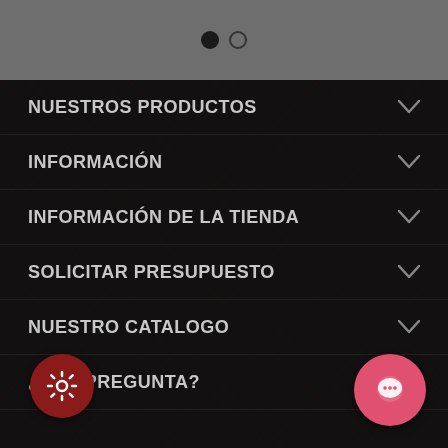[Figure (screenshot): Top gray bar with two pagination dots (one filled black, one empty/outline)]
NUESTROS PRODUCTOS
INFORMACIÓN
INFORMACIÓN DE LA TIENDA
SOLICITAR PRESUPUESTO
NUESTRO CATALOGO
¿UNA PREGUNTA?
[Figure (screenshot): Red circular settings (gear) FAB button at bottom left]
[Figure (screenshot): Pink/salmon circular chat FAB button at bottom right]